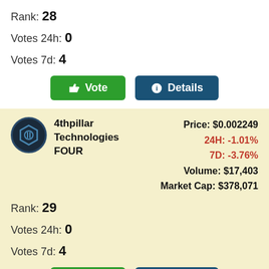Rank: 28
Votes 24h: 0
Votes 7d: 4
[Figure (other): Vote button (green) and Details button (dark blue)]
4thpillar Technologies FOUR — Price: $0.002249, 24H: -1.01%, 7D: -3.76%, Volume: $17,403, Market Cap: $378,071
Rank: 29
Votes 24h: 0
Votes 7d: 4
[Figure (other): Vote button (green) and Details button (dark blue)]
Planet Inverse XIV — Price: $0.00937, 24H: -0.11%, 7D: 8.77%